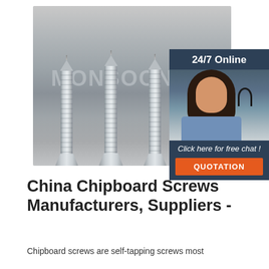[Figure (photo): Four silver/zinc chipboard screws standing upright on a gray surface, showing threaded shafts and flat countersunk heads, with a watermark 'MONSOON' on the background. An overlaid chat widget shows '24/7 Online', a customer service person with headset, 'Click here for free chat!' and an orange QUOTATION button.]
China Chipboard Screws Manufacturers, Suppliers -
Chipboard screws are self-tapping screws most